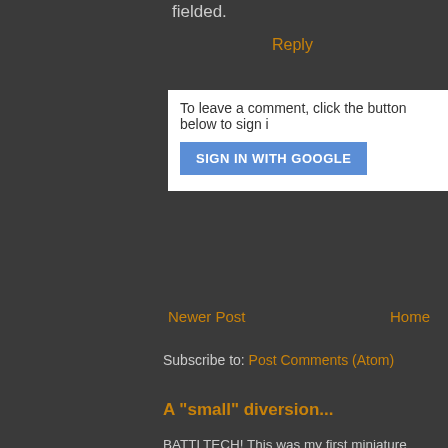fielded.
Reply
To leave a comment, click the button below to sign i
SIGN IN WITH GOOGLE
Newer Post
Home
Subscribe to: Post Comments (Atom)
A "small" diversion...
BATTLTECH! This was my first miniature game. As I mentio place in my hobby heart. I remember do...
[Figure (photo): BattleTech Second Edition box cover showing the word BATTL (cropped)]